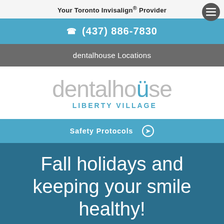Your Toronto Invisalign® Provider
(437) 886-7830
dentalhouse Locations
[Figure (logo): dentalhouse Liberty Village logo — 'dentalhouse' in light grey with teal dotted 'u', 'LIBERTY VILLAGE' in bold teal below]
Safety Protocols ➔
Fall holidays and keeping your smile healthy!